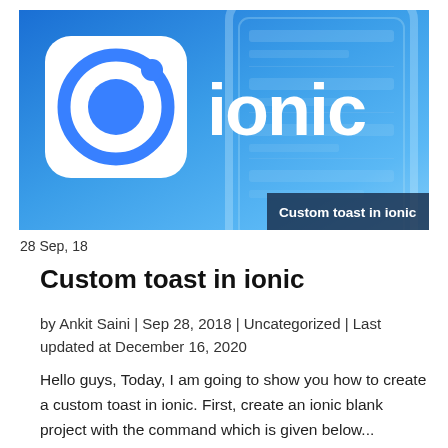[Figure (screenshot): Ionic framework hero banner image with blue gradient background, Ionic logo (white rounded square with blue circular icon) on the left, 'ionic' wordmark in white on the right, a faded phone UI in the background, and a dark overlay label reading 'Custom toast in ionic' in the bottom right corner.]
28 Sep, 18
Custom toast in ionic
by Ankit Saini | Sep 28, 2018 | Uncategorized | Last updated at December 16, 2020
Hello guys, Today, I am going to show you how to create a custom toast in ionic. First, create an ionic blank project with the command which is given below...